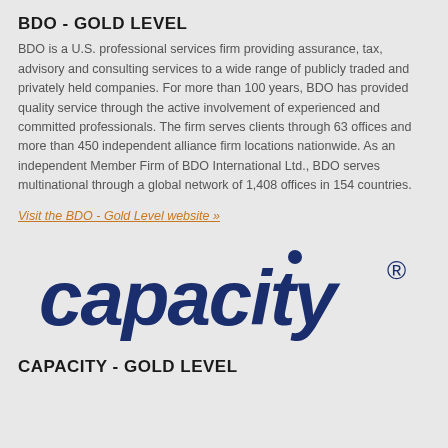BDO - GOLD LEVEL
BDO is a U.S. professional services firm providing assurance, tax, advisory and consulting services to a wide range of publicly traded and privately held companies. For more than 100 years, BDO has provided quality service through the active involvement of experienced and committed professionals. The firm serves clients through 63 offices and more than 450 independent alliance firm locations nationwide. As an independent Member Firm of BDO International Ltd., BDO serves multinational through a global network of 1,408 offices in 154 countries.
Visit the BDO - Gold Level website  >>
[Figure (logo): Capacity logo in dark navy blue bold italic lowercase letters with registered trademark symbol]
CAPACITY - GOLD LEVEL